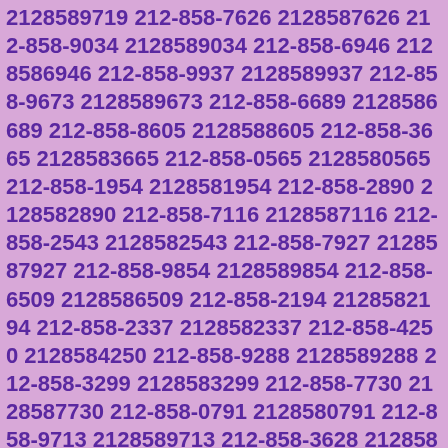2128589719 212-858-7626 2128587626 212-858-9034 2128589034 212-858-6946 2128586946 212-858-9937 2128589937 212-858-9673 2128589673 212-858-6689 2128586689 212-858-8605 2128588605 212-858-3665 2128583665 212-858-0565 2128580565 212-858-1954 2128581954 212-858-2890 2128582890 212-858-7116 2128587116 212-858-2543 2128582543 212-858-7927 2128587927 212-858-9854 2128589854 212-858-6509 2128586509 212-858-2194 2128582194 212-858-2337 2128582337 212-858-4250 2128584250 212-858-9288 2128589288 212-858-3299 2128583299 212-858-7730 2128587730 212-858-0791 2128580791 212-858-9713 2128589713 212-858-3628 2128583628 212-858-5655 2128585655 212-858-1731 2128581731 212-858-0107 2128580107 212-858-3468 2128583468 212-858-2074 2128582074 212-858-7610 2128587610 212-858-3485 2128583485 212-858-7600 2128587600 212-858-9703 2128589703 212-858-1485 2128581485 212-858-0908 2128580908 212-858-8463 2128588463 212-858-9734 2128589734 212-858-7947 2128587947 212-858-